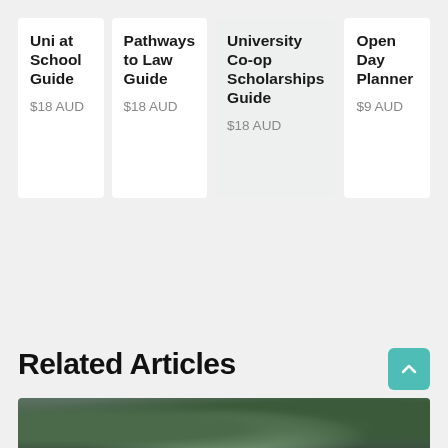Uni at School Guide
$18 AUD
Pathways to Law Guide
$18 AUD
University Co-op Scholarships Guide
$18 AUD
Open Day Planner
$9 AUD
Related Articles
[Figure (photo): Partial view of a nature/landscape photograph at the bottom of the page]